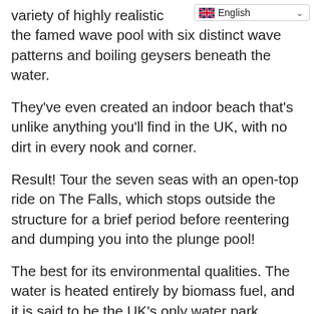variety of highly realistic the famed wave pool with six distinct wave patterns and boiling geysers beneath the water.
They've even created an indoor beach that's unlike anything you'll find in the UK, with no dirt in every nook and corner.
Result! Tour the seven seas with an open-top ride on The Falls, which stops outside the structure for a brief period before reentering and dumping you into the plunge pool!
The best for its environmental qualities. The water is heated entirely by biomass fuel, and it is said to be the UK's only water park.